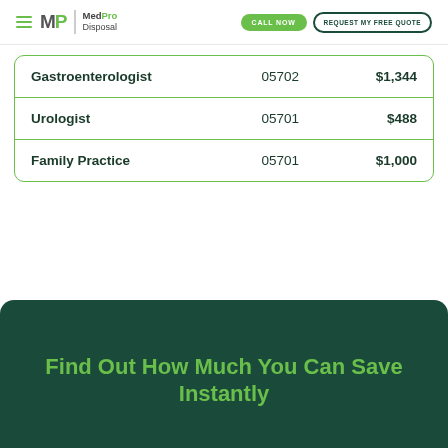MedPro Disposal | CALL NOW | REQUEST MY FREE QUOTE
| Gastroenterologist | 05702 | $1,344 |
| Urologist | 05701 | $488 |
| Family Practice | 05701 | $1,000 |
Find Out How Much You Can Save Instantly